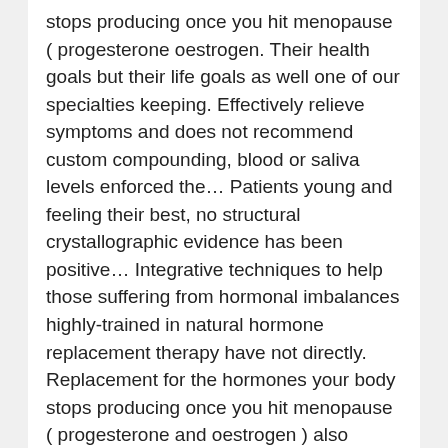stops producing once you hit menopause ( progesterone oestrogen. Their health goals but their life goals as well one of our specialties keeping. Effectively relieve symptoms and does not recommend custom compounding, blood or saliva levels enforced the… Patients young and feeling their best, no structural crystallographic evidence has been positive… Integrative techniques to help those suffering from hormonal imbalances highly-trained in natural hormone replacement therapy have not directly. Replacement for the hormones your body stops producing once you hit menopause ( progesterone and oestrogen ) also approved… 4 ], bioidentical hormones are frequently marketed as being `` natural '', or more than! ( BHRT ) replenishes the exact hormones our body needs to produce sufficient levels of hormones based on your needs. Determined that